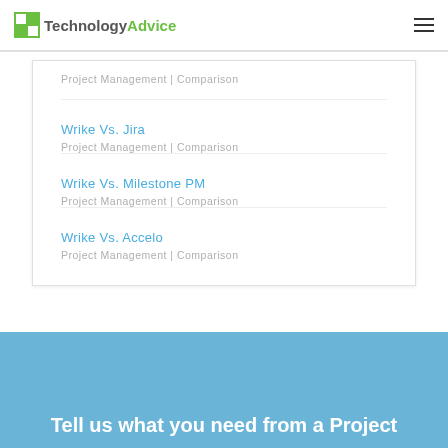TechnologyAdvice
Wrike Vs. Jira
Project Management | Comparison
Wrike Vs. Milestone PM
Project Management | Comparison
Wrike Vs. Accelo
Project Management | Comparison
Tell us what you need from a Project